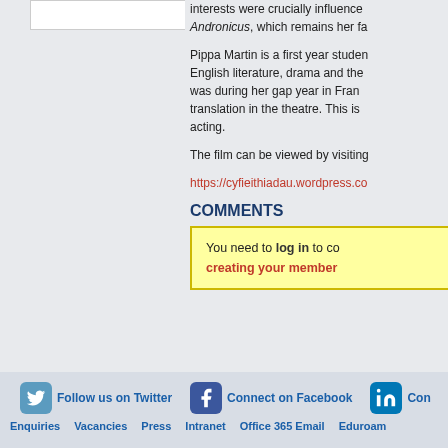[Figure (photo): Cropped image placeholder at top left]
interests were crucially influence... Andronicus, which remains her fa...
Pippa Martin is a first year studen... English literature, drama and the... was during her gap year in Fran... translation in the theatre. This is... acting.
The film can be viewed by visiting...
https://cyfieithiadau.wordpress.co...
COMMENTS
You need to log in to co... creating your member...
Follow us on Twitter  Connect on Facebook  Con...  Enquiries  Vacancies  Press  Intranet  Office 365 Email  Eduroam